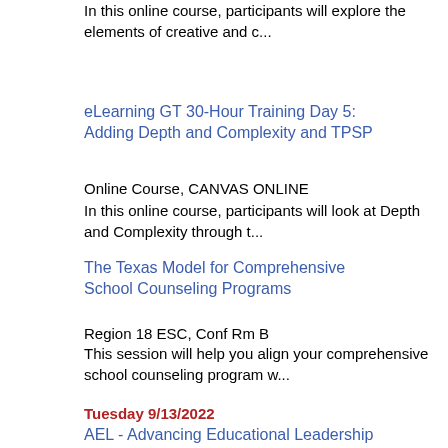In this online course, participants will explore the elements of creative and c...
eLearning GT 30-Hour Training Day 5: Adding Depth and Complexity and TPSP
Online Course, CANVAS ONLINE
In this online course, participants will look at Depth and Complexity through t...
The Texas Model for Comprehensive School Counseling Programs
Region 18 ESC, Conf Rm B
This session will help you align your comprehensive school counseling program w...
Tuesday 9/13/2022
AEL - Advancing Educational Leadership
Region 18 ESC, InfoSys 1
The goal of the 3 day AEL training is to provide practical and relevant example...
MEP Training
Region 18 ESC, Technology Classroom 10